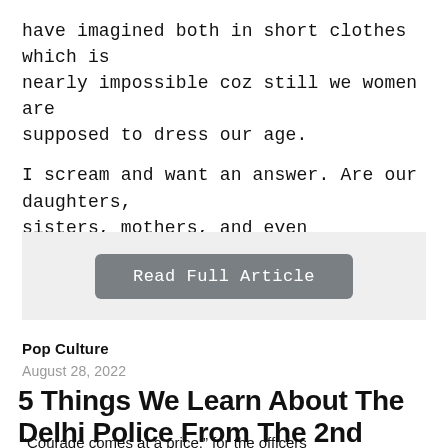have imagined both in short clothes which is nearly impossible coz still we women are supposed to dress our age.
I scream and want an answer. Are our daughters, sisters, mothers, and even grandmothers safe? The answer is NO.
[Figure (other): A grey button labeled 'Read Full Article' on a light grey background]
Pop Culture
August 28, 2022
5 Things We Learn About The Delhi Police From The 2nd Season Of Delhi Crime
“Courage comes at a price,” for the officers